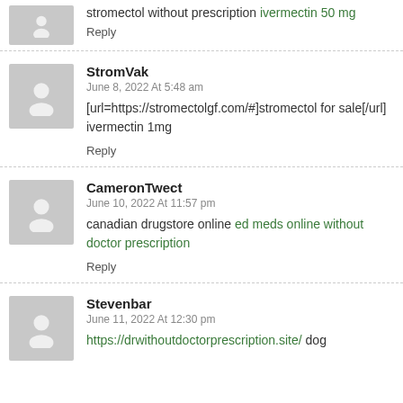stromectol without prescription ivermectin 50 mg
Reply
StromVak
June 8, 2022 At 5:48 am
[url=https://stromectolgf.com/#]stromectol for sale[/url] ivermectin 1mg
Reply
CameronTwect
June 10, 2022 At 11:57 pm
canadian drugstore online ed meds online without doctor prescription
Reply
Stevenbar
June 11, 2022 At 12:30 pm
https://drwithoutdoctorprescription.site/ dog